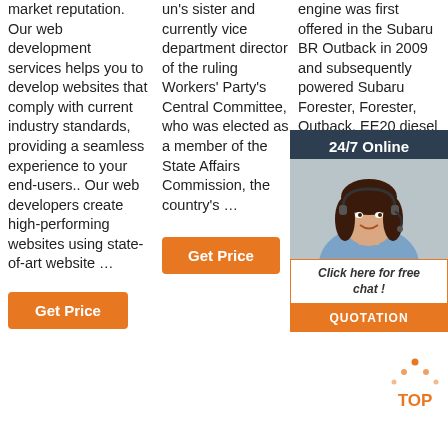market reputation. Our web development services helps you to develop websites that comply with current industry standards, providing a seamless experience to your end-users.. Our web developers create high-performing websites using state-of-art website …
Get Price
un's sister and currently vice department director of the ruling Workers' Party's Central Committee, who was elected as a member of the State Affairs Commission, the country's …
Get Price
engine was first offered in the Subaru BR Outback in 2009 and subsequently powered Subaru Forester, Forester, Outback. EE20 diesel engine underwent substantial changes to comply Euro 6 standards – these changes …
Get Price
[Figure (illustration): 24/7 Online chat widget with a woman wearing a headset, dark background, orange QUOTATION button, and 'Click here for free chat!' message]